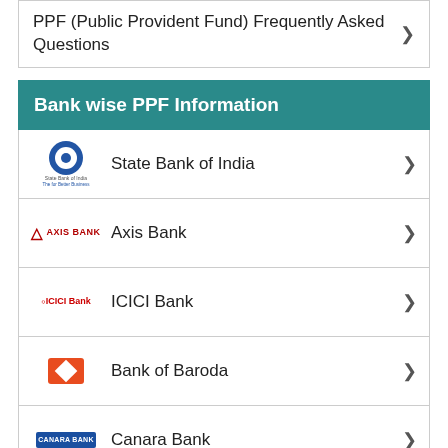PPF (Public Provident Fund) Frequently Asked Questions
Bank wise PPF Information
State Bank of India
Axis Bank
ICICI Bank
Bank of Baroda
Canara Bank
IDBI Bank
Central Bank of India